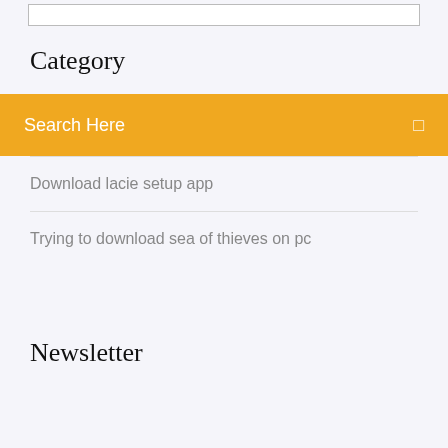[Figure (screenshot): A white input box with a border, partially visible at top of page]
Category
Search Here
Download lacie setup app
Trying to download sea of thieves on pc
Newsletter